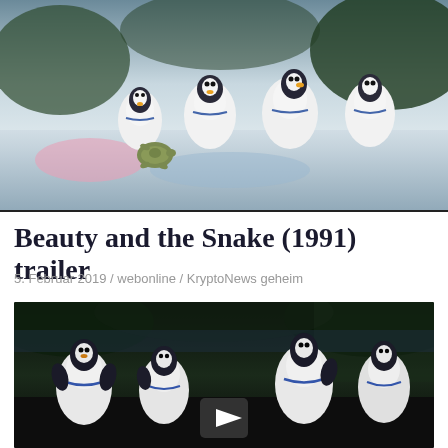[Figure (screenshot): Screenshot of animated penguins and a turtle on a reflective floor, top portion of a webpage showing a video thumbnail]
Beauty and the Snake (1991) trailer
5. Februar 2019 / webonline / KryptoNews geheim
[Figure (screenshot): Embedded video player showing animated penguins in a dark scene with a play button overlay]